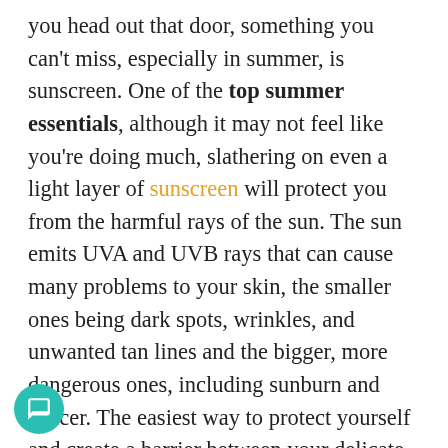you head out that door, something you can't miss, especially in summer, is sunscreen. One of the top summer essentials, although it may not feel like you're doing much, slathering on even a light layer of sunscreen will protect you from the harmful rays of the sun. The sun emits UVA and UVB rays that can cause many problems to your skin, the smaller ones being dark spots, wrinkles, and unwanted tan lines and the bigger, more dangerous ones, including sunburn and cancer. The easiest way to protect yourself and create a barrier between your delicate skin and these harsh rays is by applying sunscreen every few hours throughout the day.